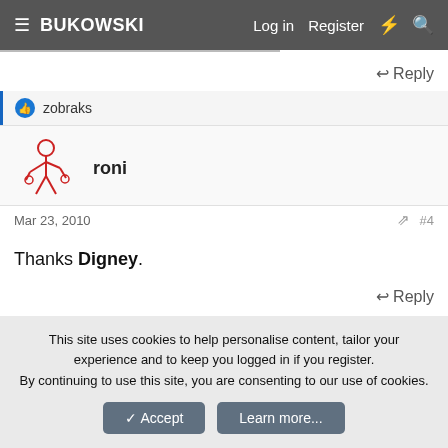BUKOWSKI   Log in   Register
Reply
zobraks
roni
Mar 23, 2010   #4
Thanks Digney.
Reply
This site uses cookies to help personalise content, tailor your experience and to keep you logged in if you register. By continuing to use this site, you are consenting to our use of cookies.
Accept   Learn more...